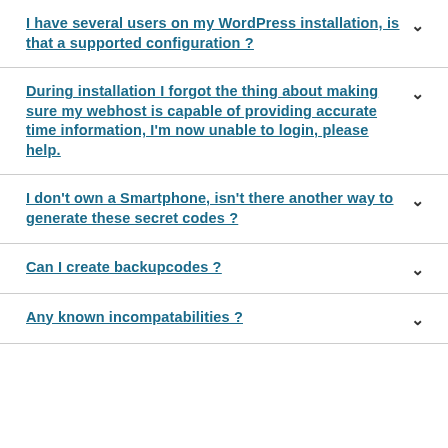I have several users on my WordPress installation, is that a supported configuration ?
During installation I forgot the thing about making sure my webhost is capable of providing accurate time information, I'm now unable to login, please help.
I don't own a Smartphone, isn't there another way to generate these secret codes ?
Can I create backupcodes ?
Any known incompatabilities ?